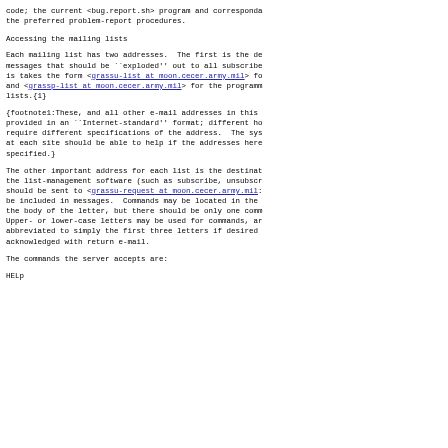code; the current <bug.report.sh> program and corresponda the preferred problem-report procedures.
Accessing the mailing lists
Each mailing list has two addresses.  The first is the de messages that should be ``exploded'' out to all subscribe is takes the form <grassu-list at moon.cecer.army.mil> fo and <grassp-list at moon.cecer.army.mil> for the programm lists.{1}
{footnote1:These, and all other e-mail addresses in this provided in an ``Internet-standard'' format; different ho require different specifications of the address.  The sys at each site should be able to help if the addresses here specified.}
The other important address for each list is the destinat the list-management software (such as subscribe, unsubscr should be sent to <grassu-request at moon.cecer.army.mil> be included in messages.  Commands may be located in the the body of the letter, but there should be only one comm Upper- or lower-case letters may be used for commands, ar abbreviated to simply the first three letters if desired acknowledged with return e-mail.
The commands the server accepts are:
HELp